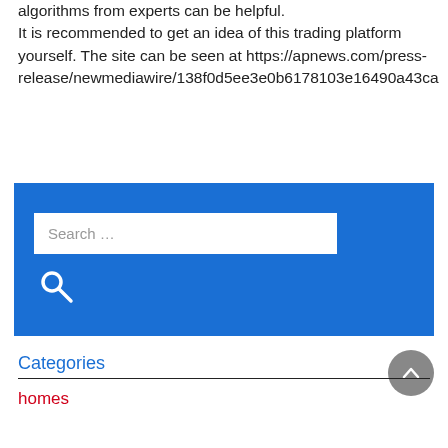algorithms from experts can be helpful.
It is recommended to get an idea of this trading platform yourself. The site can be seen at https://apnews.com/press-release/newmediawire/138f0d5ee3e0b6178103e16490a43ca
[Figure (other): Blue search widget with a white search input field labeled 'Search ...' and a white search icon button below it]
Categories
homes